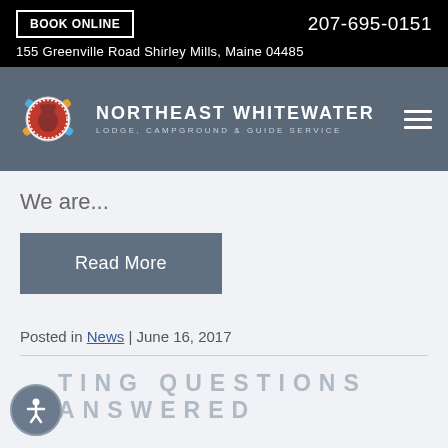BOOK ONLINE | 207-695-0151 | 155 Greenville Road Shirley Mills, Maine 04485
[Figure (logo): Northeast Whitewater Lodge, Campground & Guide Service logo with circular emblem and paddles]
We are...
Read More
Posted in News | June 16, 2017
GETTING QUESTIONS ANSWERED